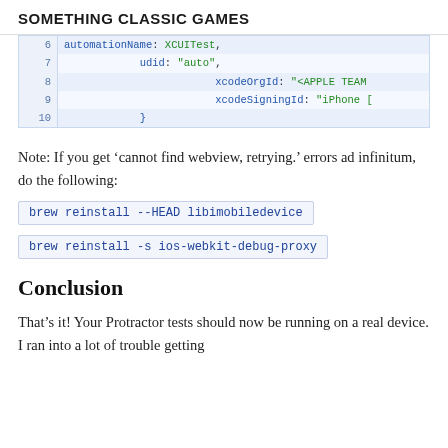SOMETHING CLASSIC GAMES
[Figure (screenshot): Code snippet showing lines 6-10 of a configuration file with automationName: XCUITest, udid: auto, xcodeOrgId: <APPLE TEAM, xcodeSigningId: iPhone [, closing brace]
Note: If you get ‘cannot find webview, retrying.’ errors ad infinitum, do the following:
brew reinstall --HEAD libimobiledevice
brew reinstall -s ios-webkit-debug-proxy
Conclusion
That’s it! Your Protractor tests should now be running on a real device. I ran into a lot of trouble getting